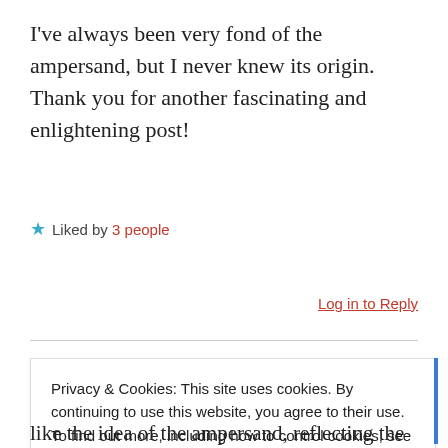I've always been very fond of the ampersand, but I never knew its origin. Thank you for another fascinating and enlightening post!
★ Liked by 3 people
Log in to Reply
Privacy & Cookies: This site uses cookies. By continuing to use this website, you agree to their use. To find out more, including how to control cookies, see here: Cookie Policy
Close and accept
like the idea of the ampersand, reflecting the